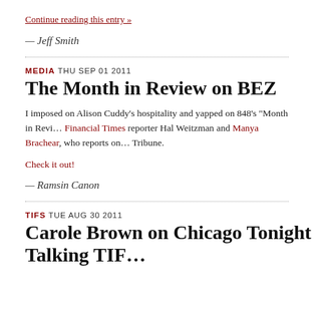Continue reading this entry »
— Jeff Smith
MEDIA THU SEP 01 2011
The Month in Review on BEZ
I imposed on Alison Cuddy's hospitality and yapped on 848's "Month in Revi… Financial Times reporter Hal Weitzman and Manya Brachear, who reports on… Tribune.
Check it out!
— Ramsin Canon
TIFS TUE AUG 30 2011
Carole Brown on Chicago Tonight Talking TIF…